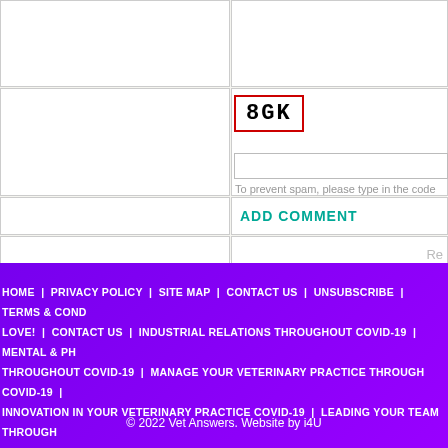[Figure (screenshot): Web form with CAPTCHA showing code '8GK' in a red-bordered box, an input field below it, spam prevention note, and ADD COMMENT button]
To prevent spam, please type in the code found box to verify you are a real person.
ADD COMMENT
HOME | PRIVACY POLICY | SITE MAP | CONTACT US | UNSUBSCRIBE | TERMS & COND... LOVE! | CONTACT US | INDUSTRIAL RELATIONS THROUGHOUT COVID-19 | MENTAL & PH... THROUGHOUT COVID-19 | MANAGE YOUR VETERINARY PRACTICE THROUGH COVID-19 | INNOVATION IN YOUR VETERINARY PRACTICE COVID-19 | LEADING YOUR TEAM THROUGH... RESOURCES TO SHARE WITH PET OWNERS ABOUT COVID-19 |
© 2022 Vet Answers. Website by i4U